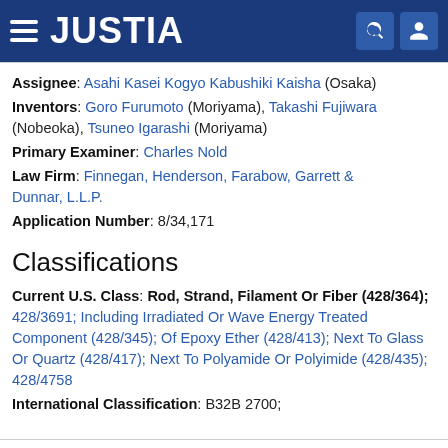JUSTIA
Assignee: Asahi Kasei Kogyo Kabushiki Kaisha (Osaka)
Inventors: Goro Furumoto (Moriyama), Takashi Fujiwara (Nobeoka), Tsuneo Igarashi (Moriyama)
Primary Examiner: Charles Nold
Law Firm: Finnegan, Henderson, Farabow, Garrett & Dunnar, L.L.P.
Application Number: 8/34,171
Classifications
Current U.S. Class: Rod, Strand, Filament Or Fiber (428/364); 428/3691; Including Irradiated Or Wave Energy Treated Component (428/345); Of Epoxy Ether (428/413); Next To Glass Or Quartz (428/417); Next To Polyamide Or Polyimide (428/435); 428/4758
International Classification: B32B 2700;